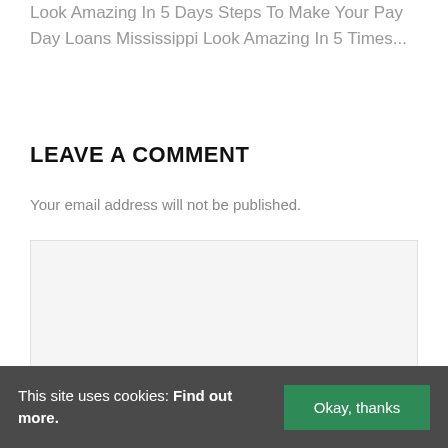Look Amazing In 5 Days Steps To Make Your Pay Day Loans Mississippi Look Amazing In 5 Times...
LEAVE A COMMENT
Your email address will not be published.
Comment*
This site uses cookies: Find out more. Okay, thanks